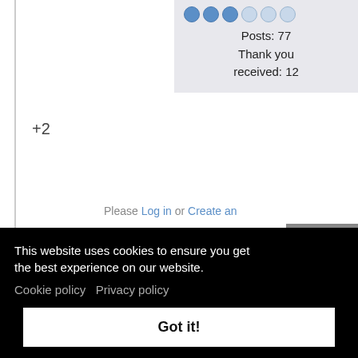Posts: 77
Thank you received: 12
+2
Please Log in or Create an
58354
Junior Member
This website uses cookies to ensure you get the best experience on our website.
Cookie policy   Privacy policy
Got it!